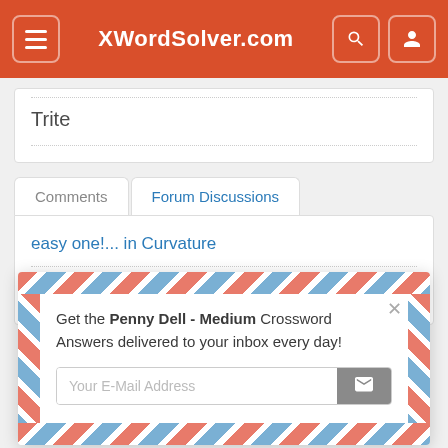XWordSolver.com
Trite
Comments	Forum Discussions
easy one!... in Curvature
Get the Penny Dell - Medium Crossword Answers delivered to your inbox every day!
Your E-Mail Address